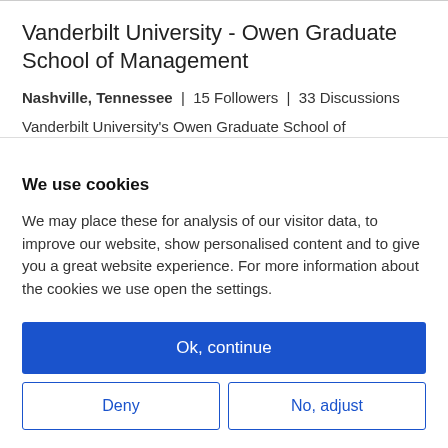Vanderbilt University - Owen Graduate School of Management
Nashville, Tennessee  |  15 Followers  |  33 Discussions
Vanderbilt University's Owen Graduate School of Management offers 20 MBA specializations – optional, deep dives into niche subjects. The Human and Organizational Performance (HOP) specialization focuses on getting students jobs in human capital consulting or corporate human resources management through a
We use cookies
We may place these for analysis of our visitor data, to improve our website, show personalised content and to give you a great website experience. For more information about the cookies we use open the settings.
Ok, continue
Deny
No, adjust